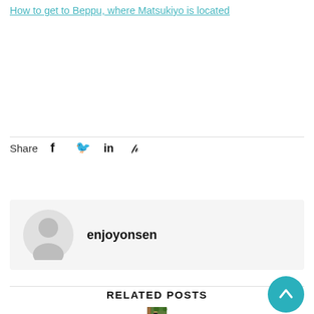How to get to Beppu, where Matsukiyo is located
Share
[Figure (illustration): Author avatar placeholder icon (grey silhouette of a person)]
enjoyonsen
RELATED POSTS
[Figure (photo): A woman wearing a hat on a wooden deck overlooking green trees, related blog post thumbnail]